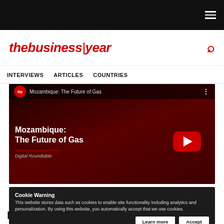thebusinessyear
INTERVIEWS   ARTICLES   COUNTRIES
[Figure (screenshot): YouTube video thumbnail for 'Mozambique: The Future of Gas' Digital Roundtable on The Business Year channel, showing a dark red background with the video title text and a YouTube play button.]
Cookie Warning
This website stores data such as cookies to enable site functionality including analytics and personalization. By using this website, you automatically accept that we use cookies.
Mozambique: The Future of Gas